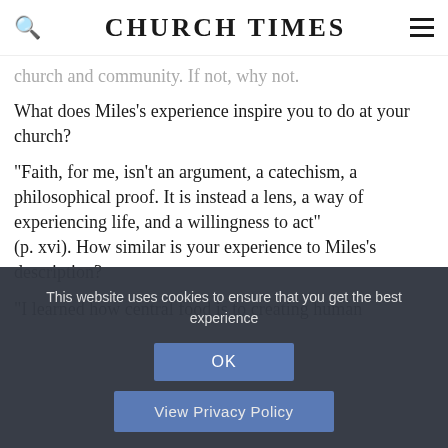CHURCH TIMES
church and community. If not, why not.
What does Miles's experience inspire you to do at your church?
"Faith, for me, isn't an argument, a catechism, a philosophical proof. It is instead a lens, a way of experiencing life, and a willingness to act" (p. xvi). How similar is your experience to Miles's description?
"I learned how central food is to creating human
This website uses cookies to ensure that you get the best experience